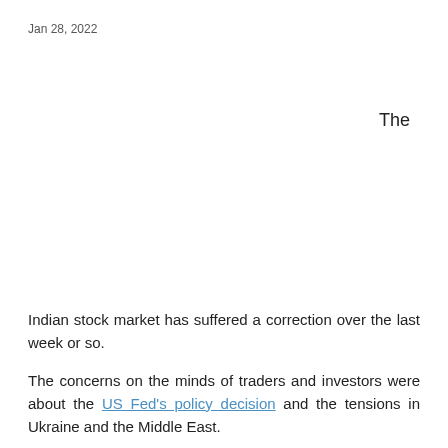Jan 28, 2022
The
Indian stock market has suffered a correction over the last week or so.

The concerns on the minds of traders and investors were about the US Fed's policy decision and the tensions in Ukraine and the Middle East.